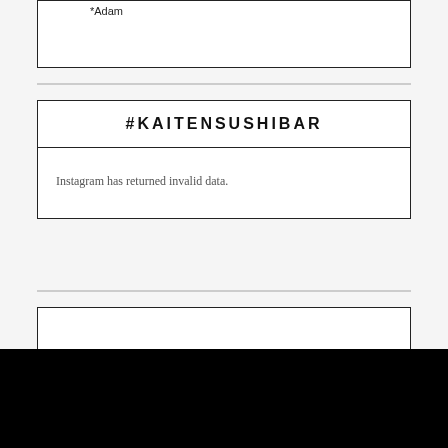*Adam
#KAITENSUSHIBAR
Instagram has returned invalid data.